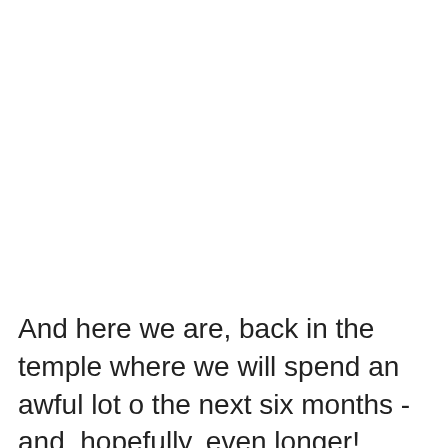And here we are, back in the temple where we will spend an awful lot o the next six months - and, hopefully, even longer! Tonight's game  is on Fox Sports Arizona PLUS for television, and on ESPN Pho...